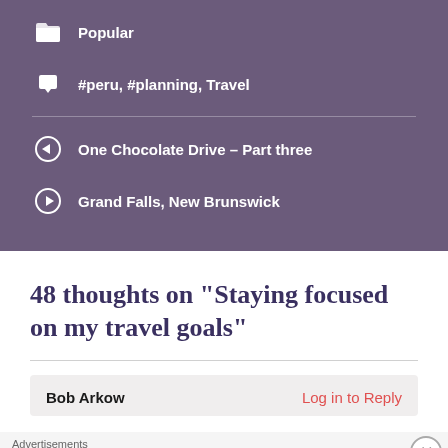Popular
#peru, #planning, Travel
One Chocolate Drive – Part three
Grand Falls, New Brunswick
48 thoughts on “Staying focused on my travel goals”
Bob Arkow
Log in to Reply
Advertisements
[Figure (logo): WordPress VIP logo with circular W icon and 'vip' text]
[Figure (infographic): Orange-pink gradient ad banner with 'Learn more →' button]